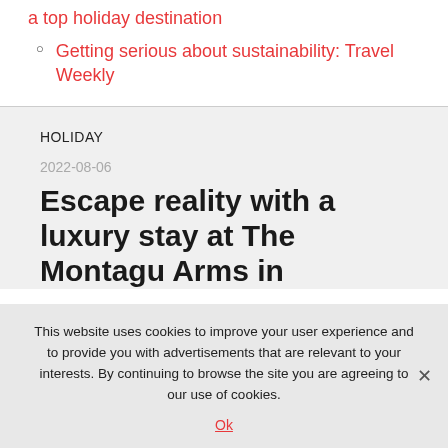a top holiday destination
Getting serious about sustainability: Travel Weekly
HOLIDAY
2022-08-06
Escape reality with a luxury stay at The Montagu Arms in
This website uses cookies to improve your user experience and to provide you with advertisements that are relevant to your interests. By continuing to browse the site you are agreeing to our use of cookies.
Ok